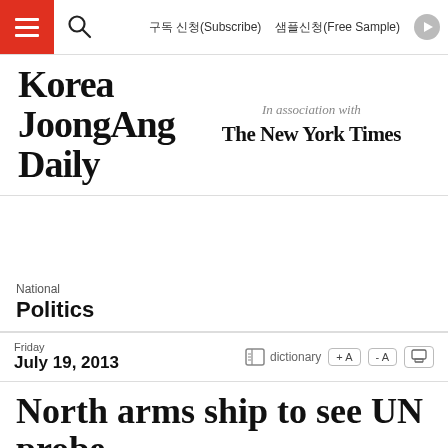구독 신청(Subscribe)  샘플신청(Free Sample)
[Figure (logo): Korea JoongAng Daily logo with 'In association with The New York Times']
National
Politics
Friday
July 19, 2013
North arms ship to see UN probe